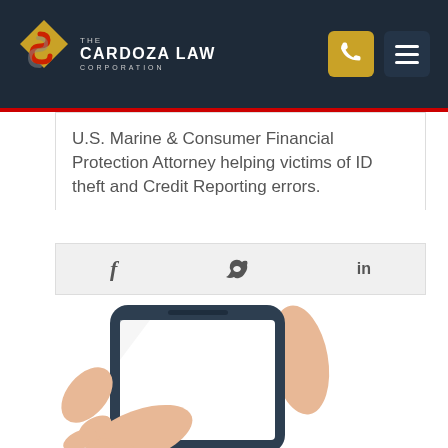The Cardoza Law Corporation
U.S. Marine & Consumer Financial Protection Attorney helping victims of ID theft and Credit Reporting errors.
[Figure (illustration): Social media share icons: Facebook (f), Twitter (bird), LinkedIn (in)]
[Figure (illustration): Illustration of a hand holding a smartphone with a blank white screen]